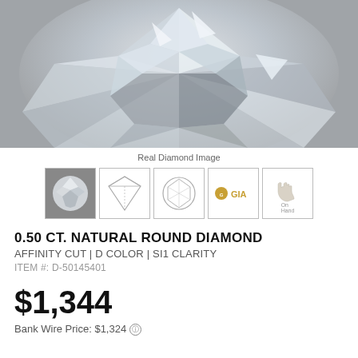[Figure (photo): Close-up photograph of a round brilliant cut diamond showing facets and reflections]
Real Diamond Image
[Figure (other): Five thumbnail images: diamond photo, diamond side diagram, diamond top diagram, GIA logo, On Hand label]
0.50 CT. NATURAL ROUND DIAMOND
AFFINITY CUT | D COLOR | SI1 CLARITY
ITEM #: D-50145401
$1,344
Bank Wire Price: $1,324